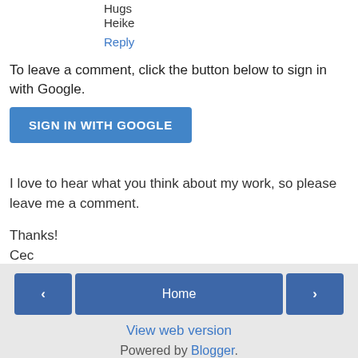Hugs
Heike
Reply
To leave a comment, click the button below to sign in with Google.
[Figure (other): Blue 'SIGN IN WITH GOOGLE' button]
I love to hear what you think about my work, so please leave me a comment.

Thanks!
Cec
< | Home | > | View web version | Powered by Blogger.